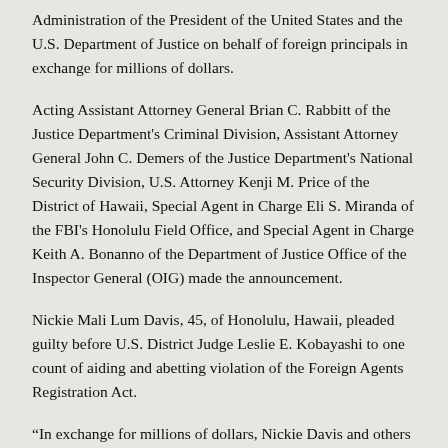Administration of the President of the United States and the U.S. Department of Justice on behalf of foreign principals in exchange for millions of dollars.
Acting Assistant Attorney General Brian C. Rabbitt of the Justice Department's Criminal Division, Assistant Attorney General John C. Demers of the Justice Department's National Security Division, U.S. Attorney Kenji M. Price of the District of Hawaii, Special Agent in Charge Eli S. Miranda of the FBI's Honolulu Field Office, and Special Agent in Charge Keith A. Bonanno of the Department of Justice Office of the Inspector General (OIG) made the announcement.
Nickie Mali Lum Davis, 45, of Honolulu, Hawaii, pleaded guilty before U.S. District Judge Leslie E. Kobayashi to one count of aiding and abetting violation of the Foreign Agents Registration Act.
“In exchange for millions of dollars, Nickie Davis and others covertly sought to do the bidding of a foreign government and a foreign principal by attempting to influence senior